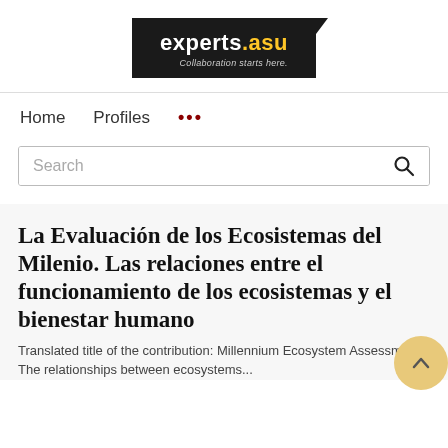[Figure (logo): experts.asu logo — black background rectangle with white text 'experts' and yellow '.asu', tagline 'Collaboration starts here.']
Home   Profiles   ...
Search
La Evaluación de los Ecosistemas del Milenio. Las relaciones entre el funcionamiento de los ecosistemas y el bienestar humano
Translated title of the contribution: Millennium Ecosystem Assessment. The relationships between ecosystems...